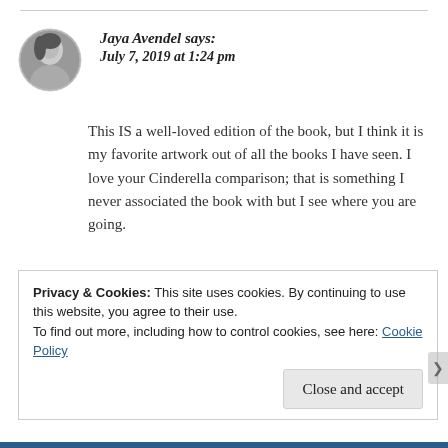[Figure (photo): Black and white circular avatar photo of Jaya Avendel, a woman facing sideways]
Jaya Avendel says:
July 7, 2019 at 1:24 pm
This IS a well-loved edition of the book, but I think it is my favorite artwork out of all the books I have seen. I love your Cinderella comparison; that is something I never associated the book with but I see where you are going.
★ Liked by 2 people
Privacy & Cookies: This site uses cookies. By continuing to use this website, you agree to their use.
To find out more, including how to control cookies, see here: Cookie Policy
Close and accept